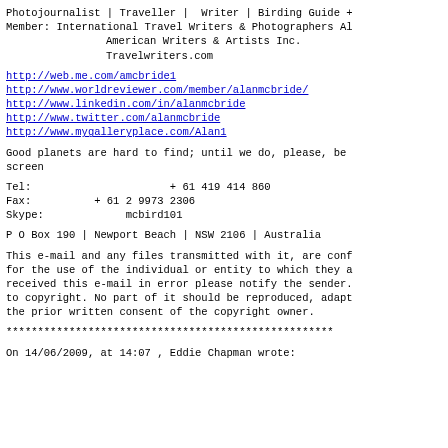Photojournalist | Traveller | Writer | Birding Guide +
Member: International Travel Writers & Photographers Al
                    American Writers & Artists Inc.
                    Travelwriters.com
http://web.me.com/amcbride1
http://www.worldreviewer.com/member/alanmcbride/
http://www.linkedin.com/in/alanmcbride
http://www.twitter.com/alanmcbride
http://www.mygalleryplace.com/Alan1
Good planets are hard to find; until we do, please, be
screen
Tel:                    + 61 419 414 860
Fax:          + 61 2 9973 2306
Skype:             mcbird101
P O Box 190 | Newport Beach | NSW 2106 | Australia
This e-mail and any files transmitted with it, are conf
for the use of the individual or entity to which they a
received this e-mail in error please notify the sender.
to copyright. No part of it should be reproduced, adapt
the prior written consent of the copyright owner.
****************************************************
On 14/06/2009, at 14:07 , Eddie Chapman wrote: